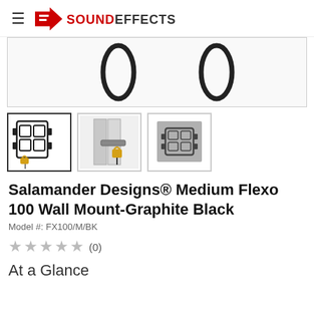Sound Effects
[Figure (photo): Main product image showing wall mount bracket with straps/cables on white background]
[Figure (photo): Thumbnail 1: Black wall mount bracket with gold cable clips on white background]
[Figure (photo): Thumbnail 2: Wall mount bracket installed on wall with gold padlock component]
[Figure (photo): Thumbnail 3: Close-up grey/silver view of wall mount bracket]
Salamander Designs® Medium Flexo 100 Wall Mount-Graphite Black
Model #: FX100/M/BK
★★★★★ (0)
At a Glance